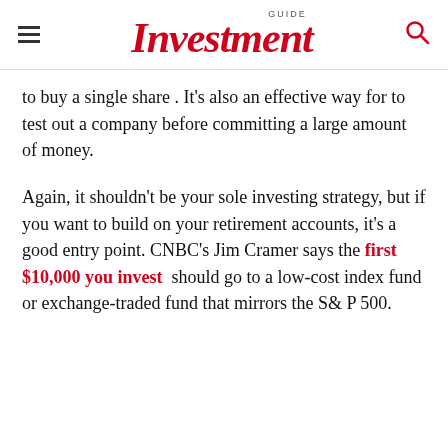GUIDE Investment
to buy a single share . It’s also an effective way for to test out a company before committing a large amount of money.
Again, it shouldn’t be your sole investing strategy, but if you want to build on your retirement accounts, it’s a good entry point. CNBC’s Jim Cramer says the first $10,000 you invest should go to a low-cost index fund or exchange-traded fund that mirrors the S& P 500.